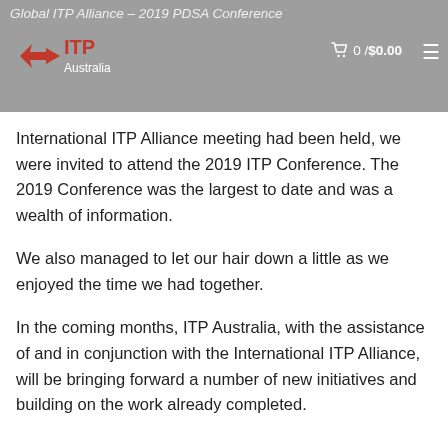Global ITP Alliance – 2019 PDSA Conference
International ITP Alliance meeting had been held, we were invited to attend the 2019 ITP Conference. The 2019 Conference was the largest to date and was a wealth of information.
We also managed to let our hair down a little as we enjoyed the time we had together.
In the coming months, ITP Australia, with the assistance of and in conjunction with the International ITP Alliance, will be bringing forward a number of new initiatives and building on the work already completed.